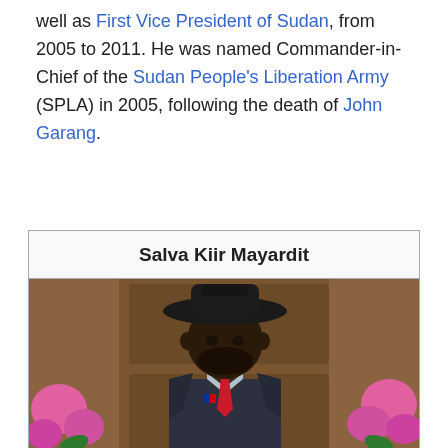well as First Vice President of Sudan, from 2005 to 2011. He was named Commander-in-Chief of the Sudan People's Liberation Army (SPLA) in 2005, following the death of John Garang.
Salva Kiir Mayardit
[Figure (photo): Portrait photo of Salva Kiir Mayardit wearing a black cowboy hat, dark suit with red tie and a flag pin, with pink flowers and wooden furniture in the background.]